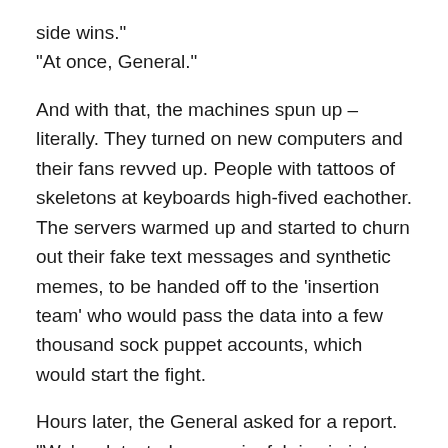side wins."
“At once, General.”
And with that, the machines spun up – literally. They turned on new computers and their fans revved up. People with tattoos of skeletons at keyboards high-fived eachother. The servers warmed up and started to churn out their fake text messages and synthetic memes, to be handed off to the ‘insertion team’ who would pass the data into a few thousand sock puppet accounts, which would start the fight.
Hours later, the General asked for a report.
“We’ve detected a meaningful rise in inter-faction conflict and we’ve successfully moved the discussion from Rule 470 to a parallel argument about the larger rulemaking process.”